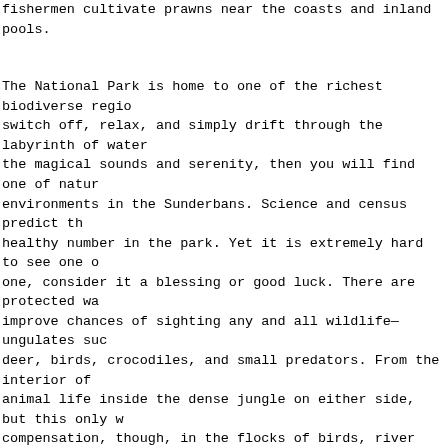fishermen cultivate prawns near the coasts and inland pools.
The National Park is home to one of the richest biodiverse regio... switch off, relax, and simply drift through the labyrinth of water... the magical sounds and serenity, then you will find one of natur... environments in the Sunderbans. Science and census predict th... healthy number in the park. Yet it is extremely hard to see one o... one, consider it a blessing or good luck. There are protected wa... improve chances of sighting any and all wildlife—ungulates suc... deer, birds, crocodiles, and small predators. From the interior of... animal life inside the dense jungle on either side, but this only w... compensation, though, in the flocks of birds, river dolphins, eve...
In the adjoining islands, the villages offer wonderful opportunitie... These are some of the most authentic and picturesque villages ... through them offers unforgettable insights into their vulnerable ... single religion that dominates the tide country. All the natives of... deity, Maa Bonbibi, the all-powerful, presiding goddess of the m... or rituals associated with the deity. This unique tradition ensure... harmony. The villagers' belief is deeply embedded in the social ... and passed down from generation to generation.